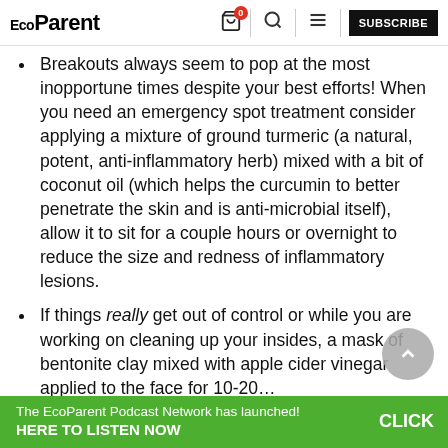EcoParent — SUBSCRIBE
Breakouts always seem to pop at the most inopportune times despite your best efforts! When you need an emergency spot treatment consider applying a mixture of ground turmeric (a natural, potent, anti-inflammatory herb) mixed with a bit of coconut oil (which helps the curcumin to better penetrate the skin and is anti-microbial itself), allow it to sit for a couple hours or overnight to reduce the size and redness of inflammatory lesions.
If things really get out of control or while you are working on cleaning up your insides, a mask of bentonite clay mixed with apple cider vinegar applied to the face for 10-20…
The EcoParent Podcast Network has launched! CLICK HERE TO LISTEN NOW